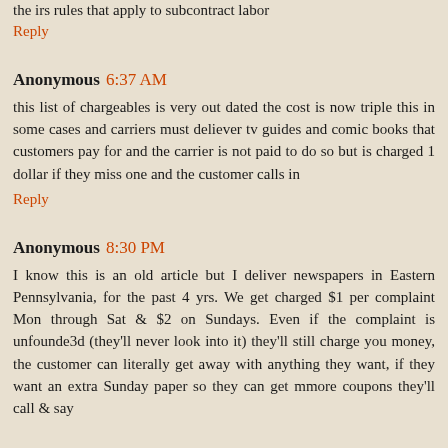the irs rules that apply to subcontract labor
Reply
Anonymous 6:37 AM
this list of chargeables is very out dated the cost is now triple this in some cases and carriers must deliever tv guides and comic books that customers pay for and the carrier is not paid to do so but is charged 1 dollar if they miss one and the customer calls in
Reply
Anonymous 8:30 PM
I know this is an old article but I deliver newspapers in Eastern Pennsylvania, for the past 4 yrs. We get charged $1 per complaint Mon through Sat & $2 on Sundays. Even if the complaint is unfounde3d (they'll never look into it) they'll still charge you money, the customer can literally get away with anything they want, if they want an extra Sunday paper so they can get mmore coupons they'll call & say